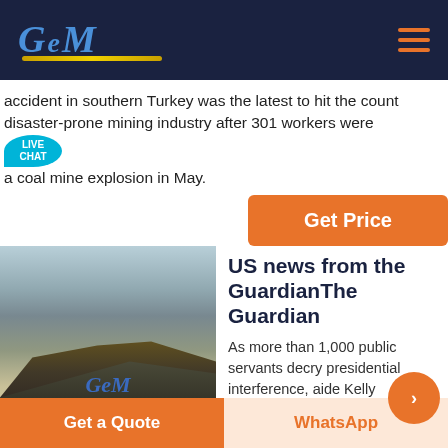GCM
accident in southern Turkey was the latest to hit the count disaster-prone mining industry after 301 workers were a coal mine explosion in May.
[Figure (photo): Mining machinery/crusher equipment at an outdoor quarry site with GCM Machinery logo overlay]
US news from the GuardianThe Guardian
As more than 1,000 public servants decry presidential interference, aide Kelly
Get Price
Get a Quote
WhatsApp